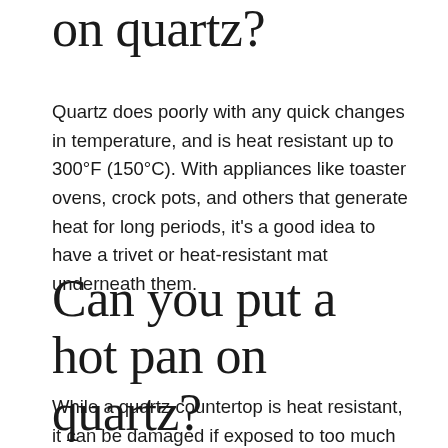on quartz?
Quartz does poorly with any quick changes in temperature, and is heat resistant up to 300°F (150°C). With appliances like toaster ovens, crock pots, and others that generate heat for long periods, it's a good idea to have a trivet or heat-resistant mat underneath them.
Can you put a hot pan on quartz?
While a quartz countertop is heat resistant, it can be damaged if exposed to too much heat. Since the quartz sto...